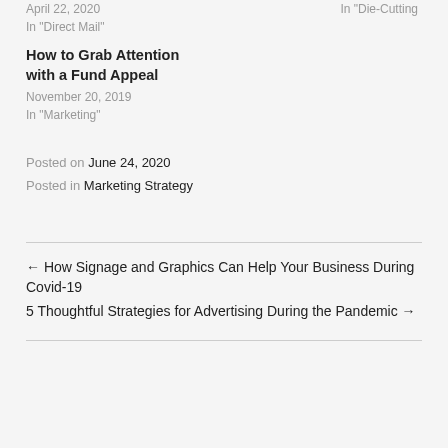April 22, 2020
In "Direct Mail"
In "Die-Cutting"
How to Grab Attention with a Fund Appeal
November 20, 2019
In "Marketing"
Posted on June 24, 2020
Posted in Marketing Strategy
← How Signage and Graphics Can Help Your Business During Covid-19
5 Thoughtful Strategies for Advertising During the Pandemic →